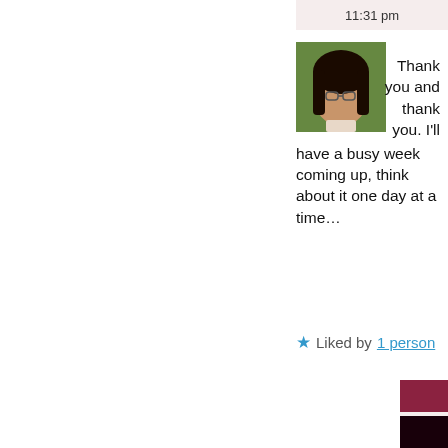11:31 pm
[Figure (photo): Avatar photo of a woman with dark hair and glasses, outdoors with green background]
Thank you and thank you. I'll have a busy week coming up, think about it one day at a time…
Liked by 1 person
prior..
December 10, 2017 11:32 pm
[Figure (photo): Small dark red/maroon avatar image]
ye